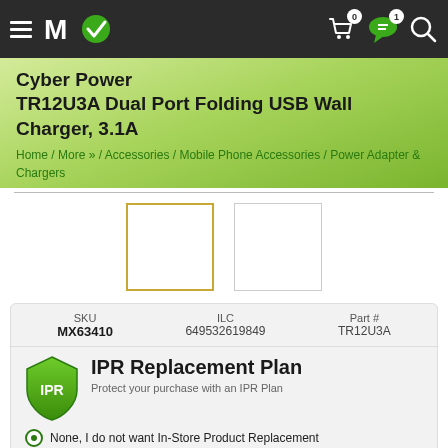Micro Center website navigation header with hamburger menu, MicroCenter logo, cart (0), message (1), and search icons
Cyber Power TR12U3A Dual Port Folding USB Wall Charger, 3.1A
Home / More » / Accessories / Mobile Phone Accessories / Power Adapter & Chargers
[Figure (photo): Two product image thumbnails side by side, one with a gold/yellow border (selected), one with a gray border]
| SKU | ILC | Part # |
| --- | --- | --- |
| MX63410 | 649532619849 | TR12U3A |
IPR Replacement Plan - Protect your purchase with an IPR Plan
None, I do not want In-Store Product Replacement
2 Year IPR Replacement Plan - only $1.99